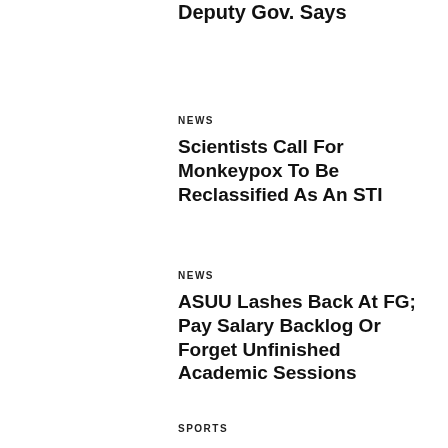Deputy Gov. Says
NEWS
Scientists Call For Monkeypox To Be Reclassified As An STI
NEWS
ASUU Lashes Back At FG; Pay Salary Backlog Or Forget Unfinished Academic Sessions
SPORTS
Jurgen Klopp Speaks On Liverpool's Stance On Selling Naby Keita